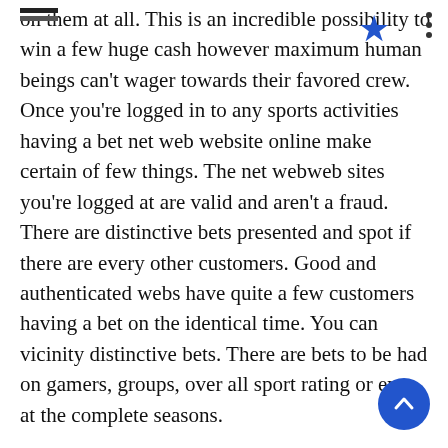on them at all. This is an incredible possibility to win a few huge cash however maximum human beings can't wager towards their favored crew. Once you're logged in to any sports activities having a bet net web website online make certain of few things. The net webweb sites you're logged at are valid and aren't a fraud. There are distinctive bets presented and spot if there are every other customers. Good and authenticated webs have quite a few customers having a bet on the identical time. You can vicinity distinctive bets. There are bets to be had on gamers, groups, over all sport rating or even at the complete seasons.
European cup
You also can vicinity destiny bets earlier than beginning of a sport with the aid of using predicting its path. People have made quite a lot of cash whilst setting bets at sports activities having a bet on web websites. It is suggested to take a few recommendations earlier than beginning on with this thing. At instances this could be hard and tricky. It entails quite a few information and experience